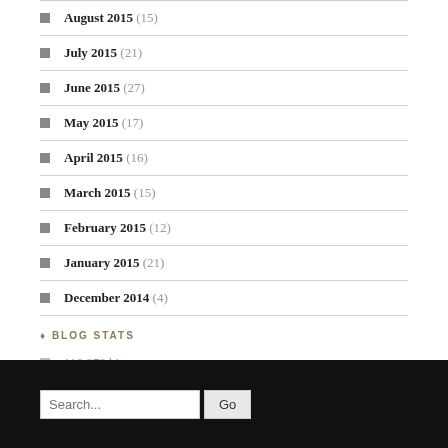August 2015 (15)
July 2015 (21)
June 2015 (27)
May 2015 (17)
April 2015 (16)
March 2015 (15)
February 2015 (12)
January 2015 (21)
December 2014 (4)
BLOG STATS
119,878 hits
Search... Go